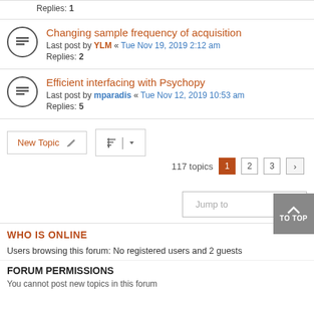Replies: 1
Changing sample frequency of acquisition
Last post by YLM « Tue Nov 19, 2019 2:12 am
Replies: 2
Efficient interfacing with Psychopy
Last post by mparadis « Tue Nov 12, 2019 10:53 am
Replies: 5
New Topic  | sort | 117 topics 1 2 3 >
Jump to ▼
WHO IS ONLINE
Users browsing this forum: No registered users and 2 guests
FORUM PERMISSIONS
You cannot post new topics in this forum